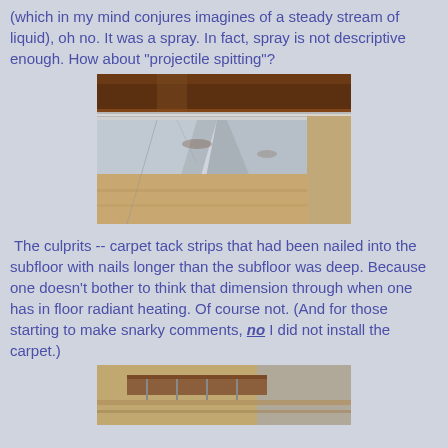(which in my mind conjures imagines of a steady stream of liquid), oh no. It was a spray. In fact, spray is not descriptive enough. How about "projectile spitting"?
[Figure (photo): Photo of carpet tack strip with silver foil/tape visible against wooden subfloor in a corner, showing nails that have punctured through]
The culprits -- carpet tack strips that had been nailed into the subfloor with nails longer than the subfloor was deep. Because one doesn't bother to think that dimension through when one has in floor radiant heating. Of course not. (And for those starting to make snarky comments, no I did not install the carpet.)
[Figure (photo): Partial photo of carpet tack strip near floor, showing wooden floor and carpet edge]